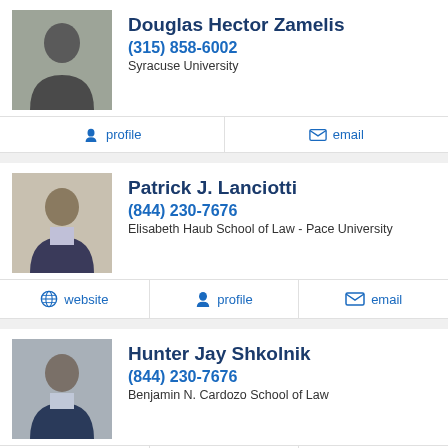Douglas Hector Zamelis
(315) 858-6002
Syracuse University
profile
email
Patrick J. Lanciotti
(844) 230-7676
Elisabeth Haub School of Law - Pace University
website
profile
email
Hunter Jay Shkolnik
(844) 230-7676
Benjamin N. Cardozo School of Law
website
profile
email